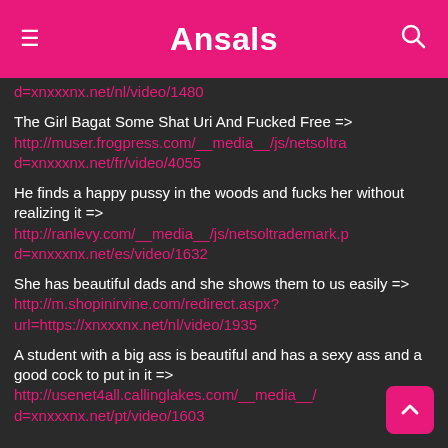Ansals
d=xnxxxnx.net/nl/video/1480
The Girl Bagat Some Shat Uri And Fucked Free => http://muser.frogpress.com/__media__/js/netsoltrad=xnxxxnx.net/fr/video/4055
He finds a happy pussy in the woods and fucks her without realizing it => http://ranlevy.com/__media__/js/netsoltrademark.pd=xnxxxnx.net/es/video/1632
She has beautiful dads and she shows them to us easily => http://m.shopinirvine.com/redirect.aspx?url=https://xnxxxnx.net/nl/video/1935
A student with a big ass is beautiful and has a sexy ass and a good cock to put in it => http://usenet4all.callinglakes.com/__media__/d=xnxxxnx.net/pt/video/1603